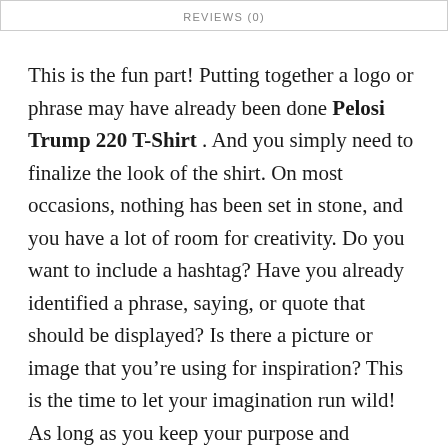REVIEWS (0)
This is the fun part! Putting together a logo or phrase may have already been done Pelosi Trump 220 T-Shirt . And you simply need to finalize the look of the shirt. On most occasions, nothing has been set in stone, and you have a lot of room for creativity. Do you want to include a hashtag? Have you already identified a phrase, saying, or quote that should be displayed? Is there a picture or image that you’re using for inspiration? This is the time to let your imagination run wild! As long as you keep your purpose and message in mind, you’ll do an excellent job. Don’t be afraid to brainstorm and ask for advice.